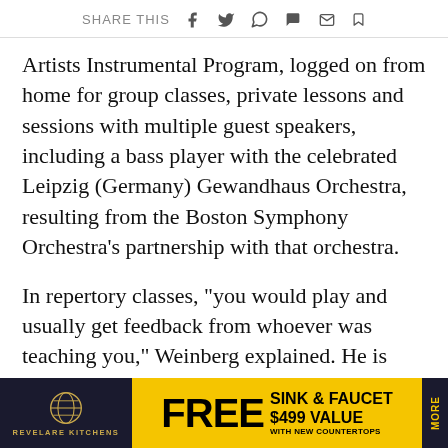SHARE THIS
Artists Instrumental Program, logged on from home for group classes, private lessons and sessions with multiple guest speakers, including a bass player with the celebrated Leipzig (Germany) Gewandhaus Orchestra, resulting from the Boston Symphony Orchestra’s partnership with that orchestra.
In repertory classes, “you would play and usually get feedback from whoever was teaching you,” Weinberg explained. He is aiming for a professional career in music, hopin[g to attend] New York [...]
[Figure (other): Advertisement banner for Revelare Kitchens offering FREE SINK & FAUCET $499 VALUE with new countertops. Dark navy background with gold globe logo, yellow center panel with bold black text.]